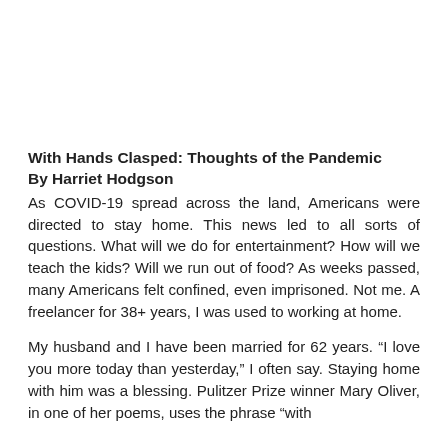With Hands Clasped: Thoughts of the Pandemic By Harriet Hodgson
As COVID-19 spread across the land, Americans were directed to stay home. This news led to all sorts of questions. What will we do for entertainment? How will we teach the kids? Will we run out of food? As weeks passed, many Americans felt confined, even imprisoned. Not me. A freelancer for 38+ years, I was used to working at home.
My husband and I have been married for 62 years. “I love you more today than yesterday,” I often say. Staying home with him was a blessing. Pulitzer Prize winner Mary Oliver, in one of her poems, uses the phrase “with